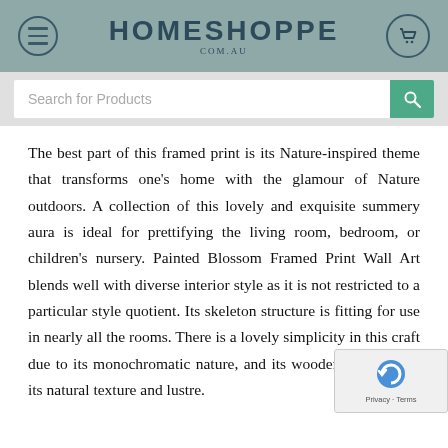HOMESHOPPE.COM.AU
[Figure (screenshot): Search bar with 'Search for Products' placeholder and a teal search button]
The best part of this framed print is its Nature-inspired theme that transforms one’s home with the glamour of Nature outdoors. A collection of this lovely and exquisite summery aura is ideal for prettifying the living room, bedroom, or children’s nursery. Painted Blossom Framed Print Wall Art blends well with diverse interior style as it is not restricted to a particular style quotient. Its skeleton structure is fitting for use in nearly all the rooms. There is a lovely simplicity in this craft due to its monochromatic nature, and its wooden fra... assumes its natural texture and lustre.